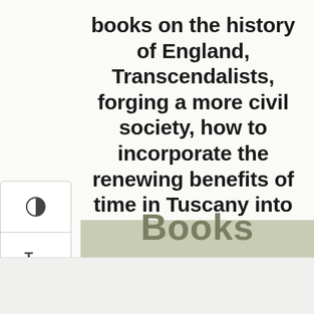books on the history of England, Transcendalists, forging a more civil society, how to incorporate the renewing benefits of time in Tuscany into your everyday life, cookbooks about pizza, cookies, a clothing sale not to miss and so much more.
[Figure (other): UI sidebar with three buttons: contrast/brightness toggle (half-circle icon), text size toggle (Tt icon), and scroll-to-top button (arrow up icon)]
Books